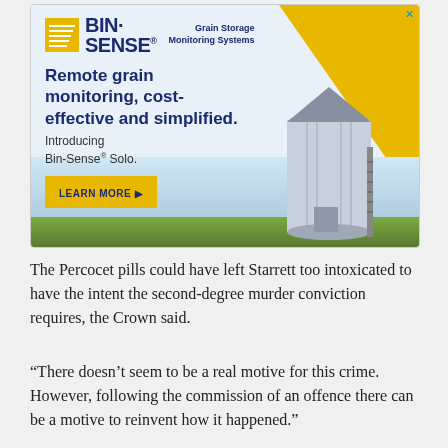[Figure (infographic): Bin-Sense advertisement banner. Yellow and blue logo with grain silo illustration. Text reads: Remote grain monitoring, cost-effective and simplified. Introducing Bin-Sense® Solo. LEARN MORE button. Grain Storage Monitoring Systems tagline.]
The Percocet pills could have left Starrett too intoxicated to have the intent the second-degree murder conviction requires, the Crown said.
“There doesn’t seem to be a real motive for this crime. However, following the commission of an offence there can be a motive to reinvent how it happened.”